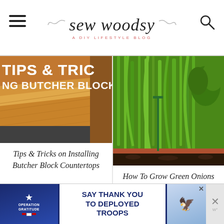sew woodsy — A DIY LIFESTYLE BLOG
[Figure (photo): Butcher block countertop corner with wood grain texture, overlaid with white bold text reading TIPS & TRICKS and NG BUTCHER BLOCK COU]
Tips & Tricks on Installing Butcher Block Countertops
[Figure (photo): Green onions and herbs growing in a garden bed with dark soil]
How To Grow Green Onions
[Figure (other): Operation Gratitude advertisement banner: SAY THANK YOU TO DEPLOYED TROOPS]